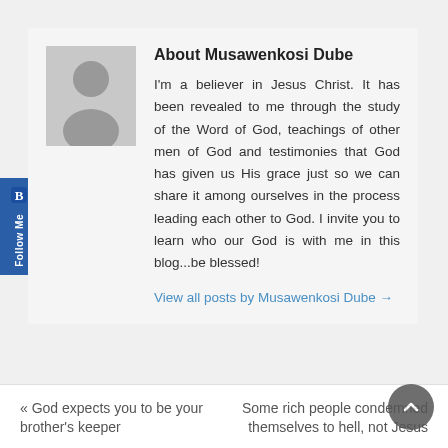About Musawenkosi Dube
I'm a believer in Jesus Christ. It has been revealed to me through the study of the Word of God, teachings of other men of God and testimonies that God has given us His grace just so we can share it among ourselves in the process leading each other to God. I invite you to learn who our God is with me in this blog...be blessed!
View all posts by Musawenkosi Dube →
« God expects you to be your brother's keeper
Some rich people condemned themselves to hell, not Jesus